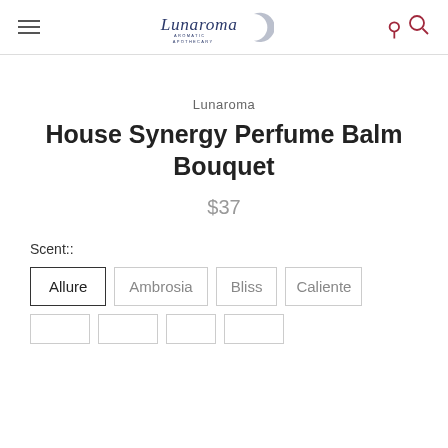[Figure (logo): Lunaroma Aromatic Apothecary logo with crescent moon]
Lunaroma
House Synergy Perfume Balm Bouquet
$37
Scent::
Allure
Ambrosia
Bliss
Caliente